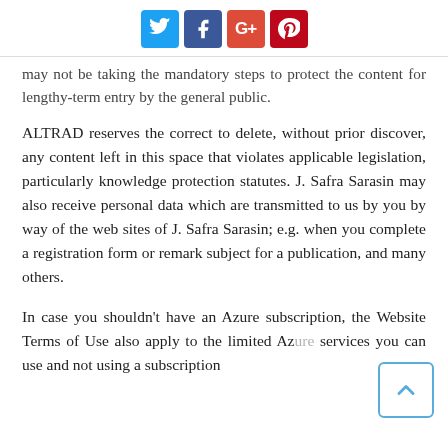[Social share buttons: Twitter, Facebook, Google+, Pinterest]
may not be taking the mandatory steps to protect the content for lengthy-term entry by the general public.
ALTRAD reserves the correct to delete, without prior discover, any content left in this space that violates applicable legislation, particularly knowledge protection statutes. J. Safra Sarasin may also receive personal data which are transmitted to us by you by way of the web sites of J. Safra Sarasin; e.g. when you complete a registration form or remark subject for a publication, and many others.
In case you shouldn't have an Azure subscription, the Website Terms of Use also apply to the limited Azure services you can use and not using a subscription